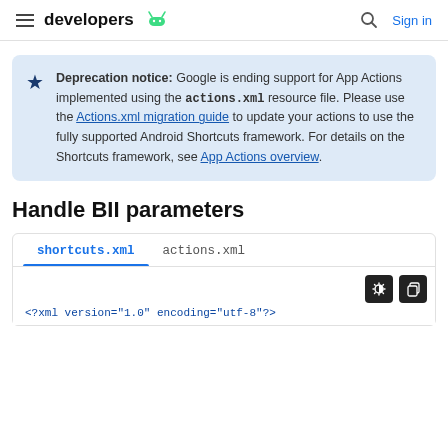developers | Sign in
Deprecation notice: Google is ending support for App Actions implemented using the actions.xml resource file. Please use the Actions.xml migration guide to update your actions to use the fully supported Android Shortcuts framework. For details on the Shortcuts framework, see App Actions overview.
Handle BII parameters
shortcuts.xml   actions.xml
<?xml version="1.0" encoding="utf-8"?>